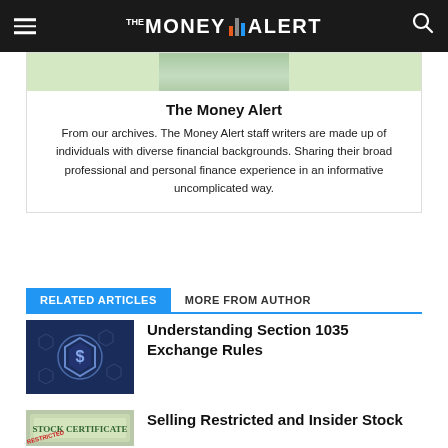THE MONEY ALERT
The Money Alert
From our archives. The Money Alert staff writers are made up of individuals with diverse financial backgrounds. Sharing their broad professional and personal finance experience in an informative uncomplicated way.
RELATED ARTICLES   MORE FROM AUTHOR
[Figure (photo): Article thumbnail: dark blue hexagonal pattern with dollar sign symbol, representing Section 1035 Exchange Rules]
Understanding Section 1035 Exchange Rules
[Figure (photo): Article thumbnail: green stock certificate image representing restricted and insider stock]
Selling Restricted and Insider Stock